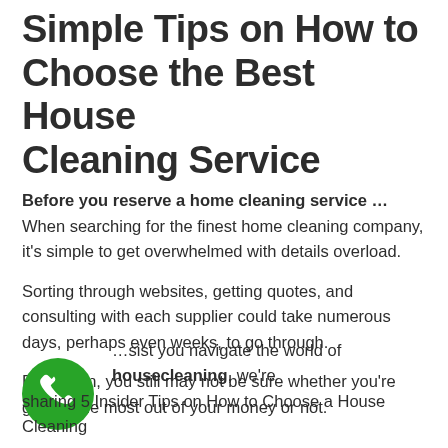Simple Tips on How to Choose the Best House Cleaning Service
Before you reserve a home cleaning service … When searching for the finest home cleaning company, it's simple to get overwhelmed with details overload.
Sorting through websites, getting quotes, and consulting with each supplier could take numerous days, perhaps even weeks, to go through.
Even then, you still may not be sure whether you're getting the most out of your money or not.
[Figure (other): Green circular phone/call button icon]
…sist you navigate the world of housecleaning, we're sharing 5 Insider Tips on How to Choose a House Cleaning